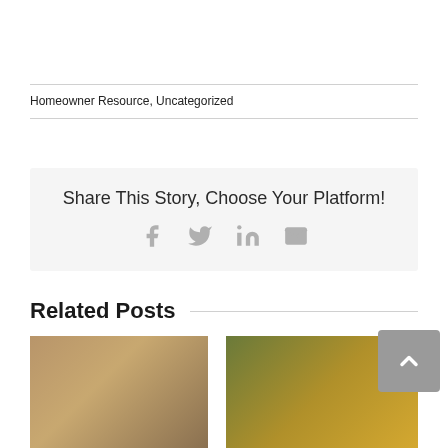Homeowner Resource, Uncategorized
Share This Story, Choose Your Platform!
[Figure (infographic): Social share icons: Facebook, Twitter, LinkedIn, Email]
Related Posts
[Figure (photo): Person wearing plaid shirt, appears to be doing home repair work]
[Figure (photo): Person in brown jacket outdoors with bright green background]